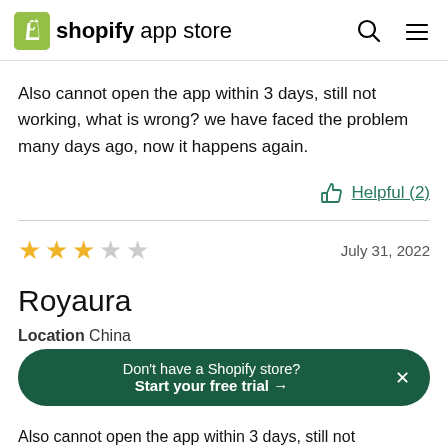shopify app store
Also cannot open the app within 3 days, still not working, what is wrong? we have faced the problem many days ago, now it happens again.
Helpful (2)
3 stars out of 5 — July 31, 2022
Royaura
Location  China
Don't have a Shopify store? Start your free trial →
Also cannot open the app within 3 days, still not